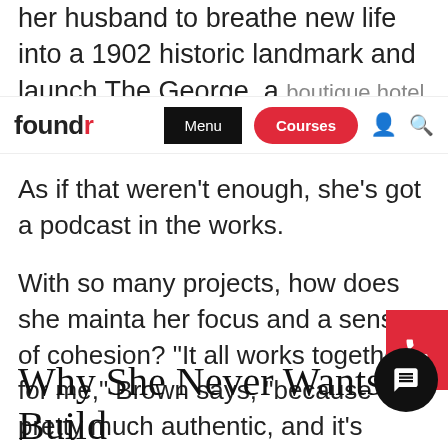her husband to breathe new life into a 1902 historic landmark and launch The George, a boutique hotel in the heart of Memphis...
foundr | Menu | Courses
As if that weren't enough, she's got a podcast in the works.
With so many projects, how does she maintain her focus and a sense of cohesion? “It all works together for me,” Brown says, “because it’s pretty much authentic, and it’s marrying, finally, really what I believe in.”
Why She Never Wants to Build